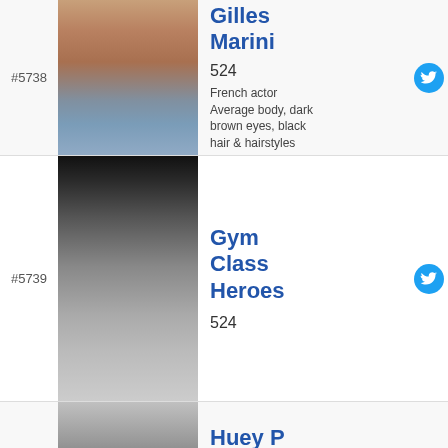#5738
[Figure (photo): Shirtless man wrapped in a blue towel, partial body shot]
Gilles Marini
524
French actor Average body, dark brown eyes, black hair & hairstyles
#5739
[Figure (photo): Tattooed man wearing grey beanie and tank top, with 'well soon' balloon in background]
Gym Class Heroes
524
#5739
[Figure (photo): Black and white photo of a person]
Huey P Newton